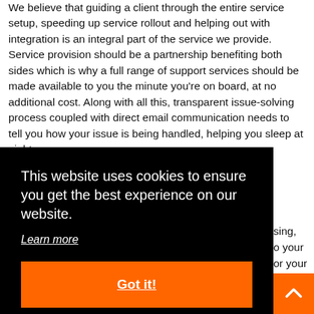We believe that guiding a client through the entire service setup, speeding up service rollout and helping out with integration is an integral part of the service we provide. Service provision should be a partnership benefiting both sides which is why a full range of support services should be made available to you the minute you're on board, at no additional cost. Along with all this, transparent issue-solving process coupled with direct email communication needs to tell you how your issue is being handled, helping you sleep at night.
This website uses cookies to ensure you get the best experience on our website.
Learn more
Got it!
sing, o your or your